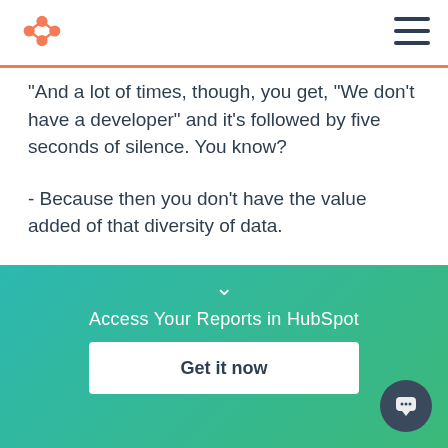HubSpot logo and navigation menu
"And a lot of times, though, you get, 'We don't have a developer' and it's followed by five seconds of silence. You know?
- Because then you don't have the value added of that diversity of data.
- Exactly.
Access Your Reports in HubSpot
Get it now